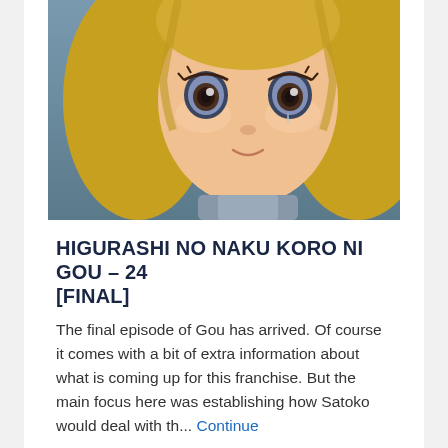[Figure (illustration): Anime screenshot showing a blonde female character with large brown eyes and a small smile, appearing to have a tear on her cheek. She has blonde hair framing her face. The background is a muted blue-grey color. The character appears to be wearing a grey outfit.]
HIGURASHI NO NAKU KORO NI GOU – 24 [FINAL]
The final episode of Gou has arrived. Of course it comes with a bit of extra information about what is coming up for this franchise. But the main focus here was establishing how Satoko would deal with th... Continue